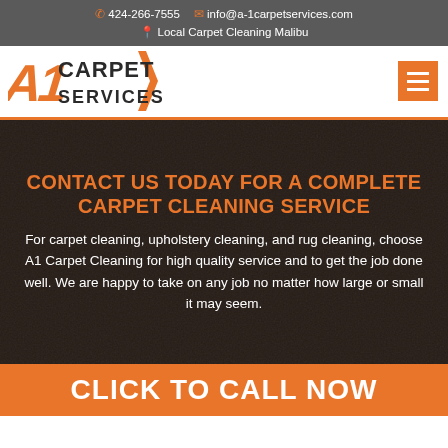424-266-7555  info@a-1carpetservices.com  Local Carpet Cleaning Malibu
[Figure (logo): A1 Carpet Services logo with orange and dark text on white background]
CONTACT US TODAY FOR A COMPLETE CARPET CLEANING SERVICE
For carpet cleaning, upholstery cleaning, and rug cleaning, choose A1 Carpet Cleaning for high quality service and to get the job done well. We are happy to take on any job no matter how large or small it may seem.
CLICK TO CALL NOW